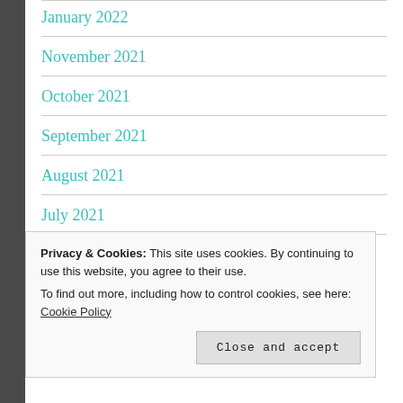January 2022
November 2021
October 2021
September 2021
August 2021
July 2021
June 2021
Privacy & Cookies: This site uses cookies. By continuing to use this website, you agree to their use.
To find out more, including how to control cookies, see here: Cookie Policy
Close and accept